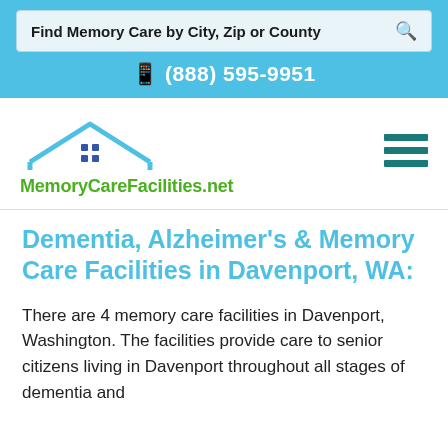Find Memory Care by City, Zip or County
(888) 595-9951
[Figure (logo): MemoryCareFacilities.net logo with a house roof icon in blue and green text]
Dementia, Alzheimer's & Memory Care Facilities in Davenport, WA:
There are 4 memory care facilities in Davenport, Washington. The facilities provide care to senior citizens living in Davenport throughout all stages of dementia and Alzheimer's disease from the time of